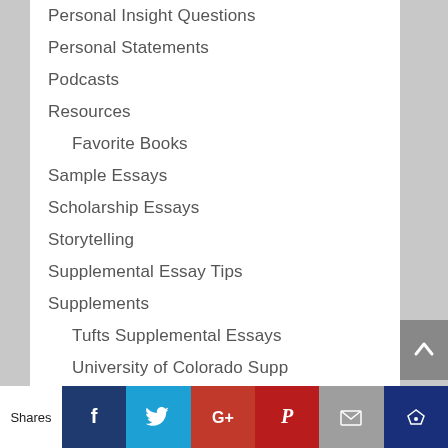Personal Insight Questions
Personal Statements
Podcasts
Resources
Favorite Books
Sample Essays
Scholarship Essays
Storytelling
Supplemental Essay Tips
Supplements
Tufts Supplemental Essays
University of Colorado Supp
Why College X?
Shares | Facebook | Twitter | Google+ | Pinterest | Email | Crown